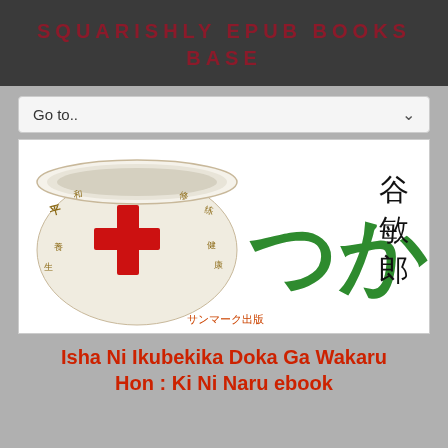SQUARISHLY EPUB BOOKS BASE
Go to..
[Figure (photo): Japanese book cover showing a white cup/bowl with a red cross symbol and gold Japanese characters, large green hiragana characters つか in center, and black kanji 谷敏郎 on the right, with publisher mark サンマーク出版 at bottom]
Isha Ni Ikubekika Doka Ga Wakaru Hon : Ki Ni Naru ebook